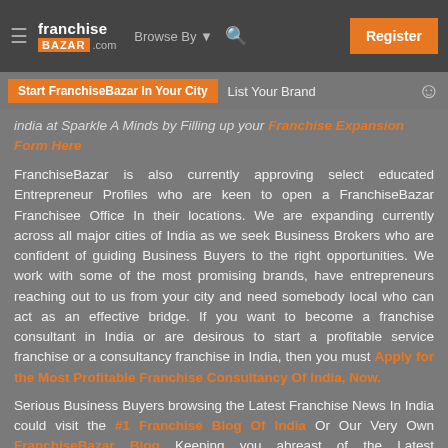franchise BAZAR .com | Browse By | Register
Start FranchiseBazar In Your City | List Your Brand
India at Sparkle A Minds by Filling up your Franchise Expansion Form Here
FranchiseBazar is also currently approving select educated Entrepreneur Profiles who are keen to open a FranchiseBazar Franchisee Office In their locations. We are expanding currently across all major cities of India as we seek Business Brokers who are confident of guiding Business Buyers to the right opportunities. We work with some of the most promising brands, have entrepreneurs reaching out to us from your city and need somebody local who can act as an effective bridge. If you want to become a franchise consultant in India or are desirous to start a profitable service franchise or a consultancy franchise in India, then you must Apply for the Most Profitable Franchise Consultancy Of India, Now.
Serious Business Buyers browsing the Latest Franchise News In India could visit the #1 Franchise Blog Of India Or Our Very Own FranchiseBazar Blog Keeping you abreast of the Latest Developments on the Franchise Industry Of India and Franchise